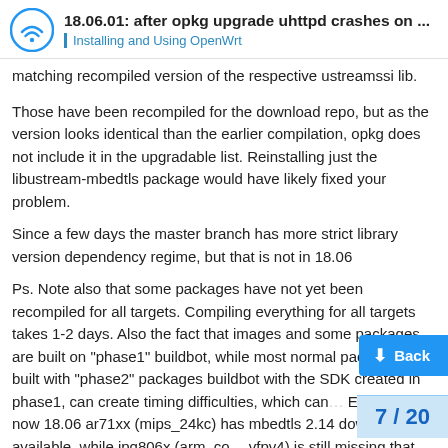18.06.01: after opkg upgrade uhttpd crashes on ... | Installing and Using OpenWrt
matching recompiled version of the respective ustreamssi lib.
Those have been recompiled for the download repo, but as the version looks identical than the earlier compilation, opkg does not include it in the upgradable list. Reinstalling just the libustream-mbedtls package would have likely fixed your problem.
Since a few days the master branch has more strict library version dependency regime, but that is not in 18.06
Ps. Note also that some packages have not yet been recompiled for all targets. Compiling everything for all targets takes 1-2 days. Also the fact that images and some packages are built on "phase1" buildbot, while most normal packages are built with "phase2" packages buildbot with the SDK created in phase1, can create timing difficulties, which can... E.g. right now 18.06 ar71xx (mips_24kc) has mbedtls 2.14 download available, while ipq806x (arm_co... vfpv4) is still missing that, as the build is st...